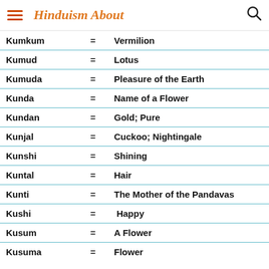Hinduism About
| Name | = | Meaning |
| --- | --- | --- |
| Kumkum | = | Vermilion |
| Kumud | = | Lotus |
| Kumuda | = | Pleasure of the Earth |
| Kunda | = | Name of a Flower |
| Kundan | = | Gold; Pure |
| Kunjal | = | Cuckoo; Nightingale |
| Kunshi | = | Shining |
| Kuntal | = | Hair |
| Kunti | = | The Mother of the Pandavas |
| Kushi | = | Happy |
| Kusum | = | A Flower |
| Kusuma | = | Flower |